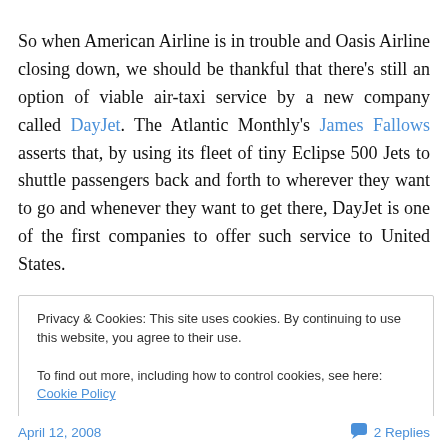So when American Airline is in trouble and Oasis Airline closing down, we should be thankful that there's still an option of viable air-taxi service by a new company called DayJet. The Atlantic Monthly's James Fallows asserts that, by using its fleet of tiny Eclipse 500 Jets to shuttle passengers back and forth to wherever they want to go and whenever they want to get there, DayJet is one of the first companies to offer such service to United States.
The problem with taxis, whether on ground or in sky, is
Privacy & Cookies: This site uses cookies. By continuing to use this website, you agree to their use.
To find out more, including how to control cookies, see here: Cookie Policy
April 12, 2008   2 Replies